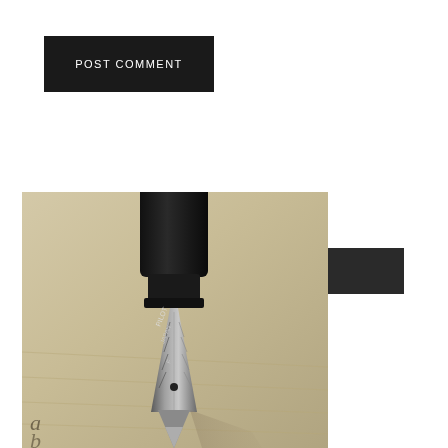POST COMMENT
FREE WRITER'S TOOLKIT
[Figure (photo): Close-up macro photo of a fountain pen nib (Pilot brand, made in Japan) resting on lined paper, showing intricate metallic detail of the nib tip against a warm beige notebook background]